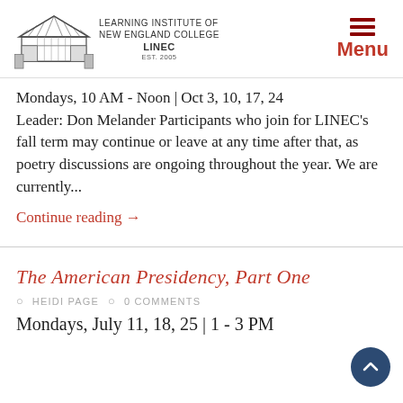[Figure (logo): Learning Institute of New England College (LINEC) logo with covered bridge illustration]
Mondays, 10 AM - Noon | Oct 3, 10, 17, 24 Leader: Don Melander Participants who join for LINEC's fall term may continue or leave at any time after that, as poetry discussions are ongoing throughout the year. We are currently...
Continue reading →
The American Presidency, Part One
HEIDI PAGE   0 COMMENTS
Mondays, July 11, 18, 25 | 1 - 3 PM